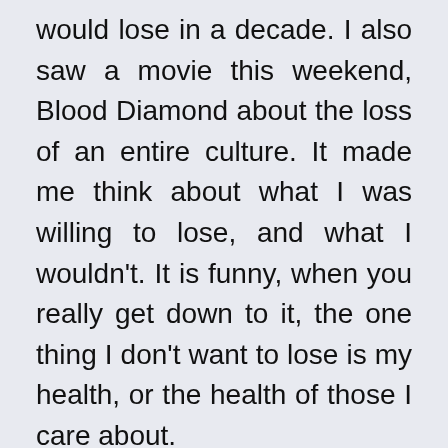would lose in a decade. I also saw a movie this weekend, Blood Diamond about the loss of an entire culture. It made me think about what I was willing to lose, and what I wouldn't. It is funny, when you really get down to it, the one thing I don't want to lose is my health, or the health of those I care about.
To protect the health of someone you love what would you be willing to give up? Your money, your home, willing to go hungry for a year? I think about the people in the most impoverished parts of the world. I just saw a friend of mine who used to be in charge of the Peace Core, and he gave me a quick